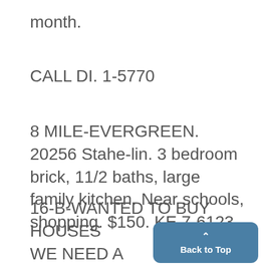month.
CALL DI. 1-5770
8 MILE-EVERGREEN. 20256 Stahelin. 3 bedroom brick, 11/2 baths, large family kitchen. Near schools, shopping. $150. KE 7-6123.
16-B-WANTED TO BUY HOUSES
WE NEED A BRICK COLONIAL $16,000 TO $17,000